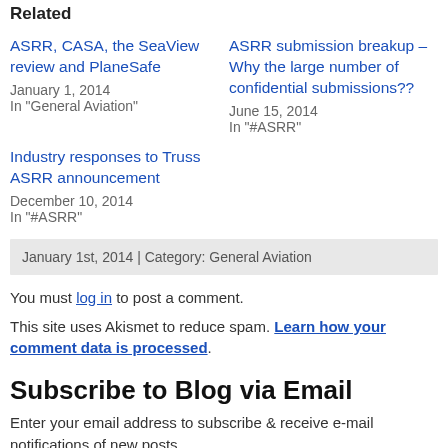Related
ASRR, CASA, the SeaView review and PlaneSafe
January 1, 2014
In "General Aviation"
ASRR submission breakup – Why the large number of confidential submissions??
June 15, 2014
In "#ASRR"
Industry responses to Truss ASRR announcement
December 10, 2014
In "#ASRR"
January 1st, 2014 | Category: General Aviation
You must log in to post a comment.
This site uses Akismet to reduce spam. Learn how your comment data is processed.
Subscribe to Blog via Email
Enter your email address to subscribe & receive e-mail notifications of new posts